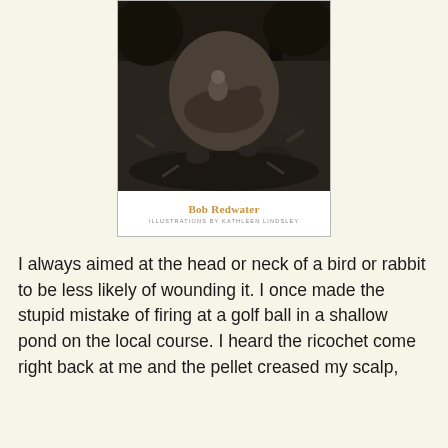[Figure (illustration): Book cover showing a dark engraving/illustration of a figure on horseback surrounded by other figures in a chaotic scene, with trees and a church spire in the background. Below the illustration is the author name 'Bob Redwater' in brown/gold text and 'ILLUSTRATIONS BY KATHLEEN LINDSLEY' in small caps.]
I always aimed at the head or neck of a bird or rabbit to be less likely of wounding it. I once made the stupid mistake of firing at a golf ball in a shallow pond on the local course. I heard the ricochet come right back at me and the pellet creased my scalp,